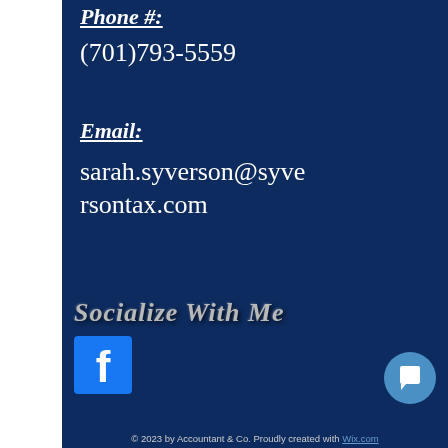Phone #:
(701)793-5559
Email:
sarah.syverson@syverson tax.com
Socialize With Me
[Figure (logo): Facebook logo icon — blue square with white 'f' lettermark]
[Figure (other): Chat bubble button icon — circular blue button with speech bubble symbol]
© 2023 by Accountant & Co. Proudly created with Wix.com